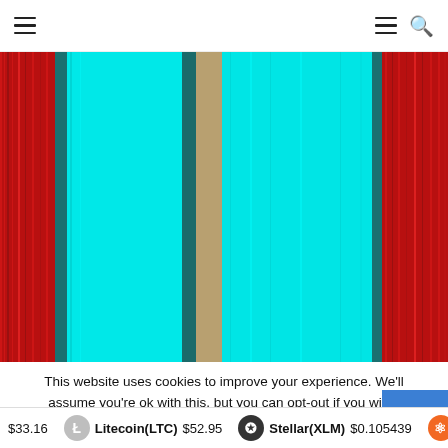≡  ≡ 🔍
[Figure (photo): Abstract colorful vertical stripes artwork — wide cyan/turquoise bands flanked by dark red/crimson bands, with a narrow dark teal stripe and a beige/tan stripe in the center area.]
This website uses cookies to improve your experience. We'll assume you're ok with this, but you can opt-out if you wish.
Accept
$33.16  Litecoin(LTC) $52.95  Stellar(XLM) $0.105439